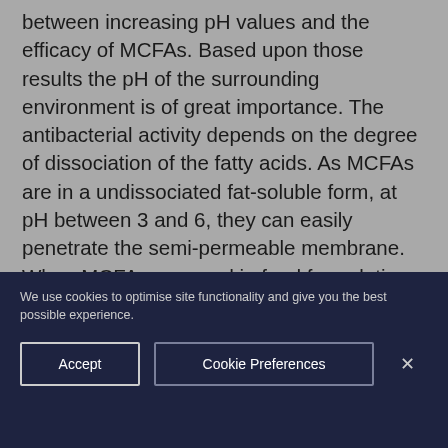between increasing pH values and the efficacy of MCFAs. Based upon those results the pH of the surrounding environment is of great importance. The antibacterial activity depends on the degree of dissociation of the fatty acids. As MCFAs are in a undissociated fat-soluble form, at pH between 3 and 6, they can easily penetrate the semi-permeable membrane. When MCFAs are used in feed formulation with a low buffering capacity the antibacterial effect of MCFAs might be more effective.
We use cookies to optimise site functionality and give you the best possible experience.